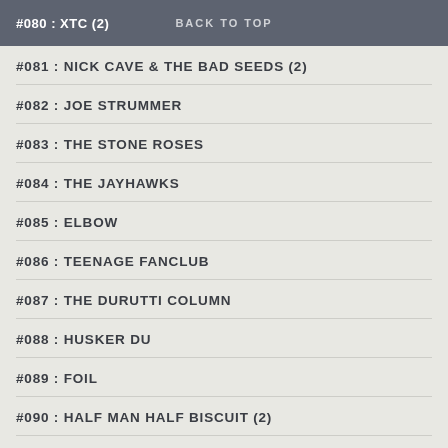#080 : XTC (2)   BACK TO TOP
#081 : NICK CAVE & THE BAD SEEDS (2)
#082 : JOE STRUMMER
#083 : THE STONE ROSES
#084 : THE JAYHAWKS
#085 : ELBOW
#086 : TEENAGE FANCLUB
#087 : THE DURUTTI COLUMN
#088 : HUSKER DU
#089 : FOIL
#090 : HALF MAN HALF BISCUIT (2)
#091 : R.E.M.
#092 : MARTIN STEPHENSON